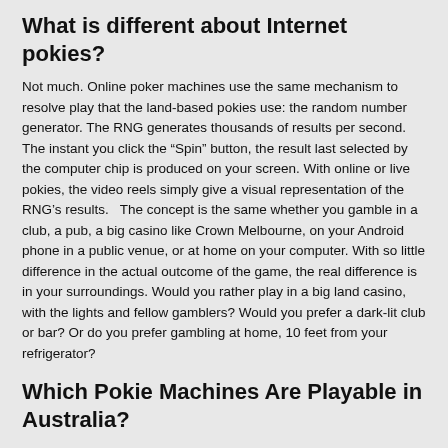What is different about Internet pokies?
Not much. Online poker machines use the same mechanism to resolve play that the land-based pokies use: the random number generator. The RNG generates thousands of results per second. The instant you click the “Spin” button, the result last selected by the computer chip is produced on your screen. With online or live pokies, the video reels simply give a visual representation of the RNG’s results.   The concept is the same whether you gamble in a club, a pub, a big casino like Crown Melbourne, on your Android phone in a public venue, or at home on your computer. With so little difference in the actual outcome of the game, the real difference is in your surroundings. Would you rather play in a big land casino, with the lights and fellow gamblers? Would you prefer a dark-lit club or bar? Or do you prefer gambling at home, 10 feet from your refrigerator?
Which Pokie Machines Are Playable in Australia?